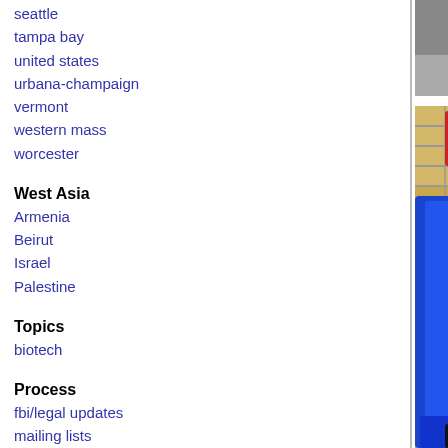seattle
tampa bay
united states
urbana-champaign
vermont
western mass
worcester
West Asia
Armenia
Beirut
Israel
Palestine
Topics
biotech
Process
fbi/legal updates
mailing lists
process & imc docs
tech
[Figure (photo): Top photo: partial view of a person's feet/legs on a sidewalk near a brick structure]
[Figure (photo): Bottom photo: shopping cart in a store near shelves with snack products including Party Pretzels and a Bloomy's sign]